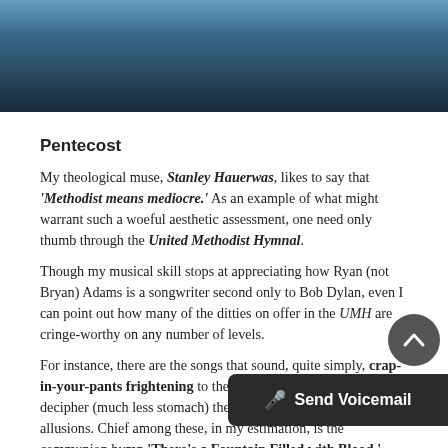[Figure (photo): Blue and dark sky/atmospheric background image spanning the top of the page]
Pentecost
My theological muse, Stanley Hauerwas, likes to say that 'Methodist means mediocre.' As an example of what might warrant such a woeful aesthetic assessment, one need only thumb through the United Methodist Hymnal.
Though my musical skill stops at appreciating how Ryan (not Bryan) Adams is a songwriter second only to Bob Dylan, even I can point out how many of the ditties on offer in the UMH are cringe-worthy on any number of levels.
For instance, there are the songs that sound, quite simply, crap-in-your-pants frightening to the uninitiated, who could never decipher (much less stomach) their minutiae of biblical allusions. Chief among these, in my estimation, is the communion hymn 'There's a Fountain Filled with Blood.'
I remember first hearing this song as a teenager during the months when I was forced to attend church against my will. Back then